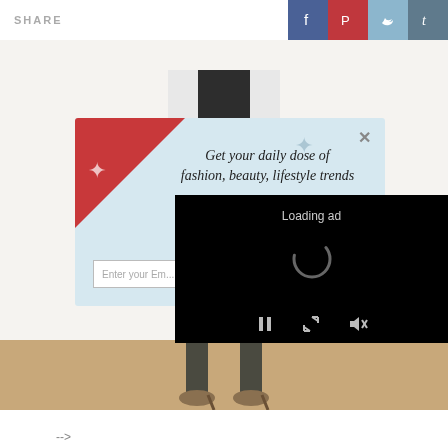SHARE
[Figure (screenshot): Social share buttons: Facebook (blue), Pinterest (red), Twitter (light blue), Tumblr (slate blue)]
[Figure (photo): Fashion photo of a woman holding a black clutch, wearing a white blazer, gold bracelet, and leopard print heels]
[Figure (screenshot): Newsletter signup popup overlay: 'Get your daily dose of fashion, beauty, lifestyle trends' with STYLE-branded input field. Over this, a video ad overlay shows 'Loading ad' with a spinner and media controls (pause, resize, mute).]
-->